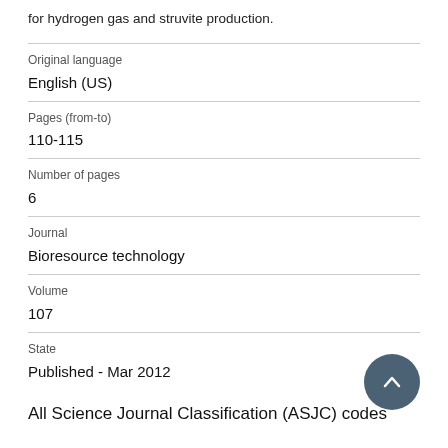for hydrogen gas and struvite production.
Original language
English (US)
Pages (from-to)
110-115
Number of pages
6
Journal
Bioresource technology
Volume
107
State
Published - Mar 2012
All Science Journal Classification (ASJC) codes